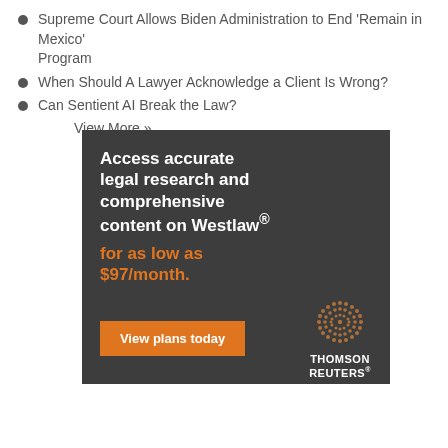Supreme Court Allows Biden Administration to End 'Remain in Mexico' Program
When Should A Lawyer Acknowledge a Client Is Wrong?
Can Sentient AI Break the Law?
View More »
[Figure (infographic): Thomson Reuters Westlaw advertisement. Dark grey background. White bold text: 'Access accurate legal research and comprehensive content on Westlaw®'. Orange bold text: 'for as low as $97/month.' Orange button: 'View plans today'. Thomson Reuters logo with dot globe graphic on the right.]